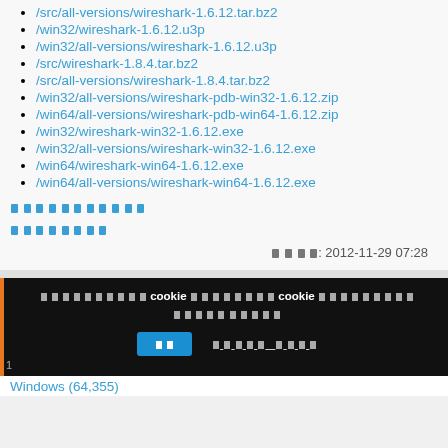/src/all-versions/wireshark-1.6.12.tar.bz2
/win32/wireshark-1.6.12.u3p
/win32/all-versions/wireshark-1.6.12.u3p
/src/wireshark-1.8.4.tar.bz2
/src/all-versions/wireshark-1.8.4.tar.bz2
/win32/all-versions/wireshark-pdb-win32-1.6.12.zip
/win64/all-versions/wireshark-pdb-win64-1.6.12.zip
/win32/wireshark-win32-1.6.12.exe
/win32/all-versions/wireshark-win32-1.6.12.exe
/win64/wireshark-win64-1.6.12.exe
/win64/all-versions/wireshark-win64-1.6.12.exe
[Thai text link row 1]
[Thai text link row 2]
[Thai]: 2012-11-29 07:28
[Cookie banner in Thai] cookie [Thai] cookie [Thai] [Thai] [OK button] [More info link]
Windows  (64,355)